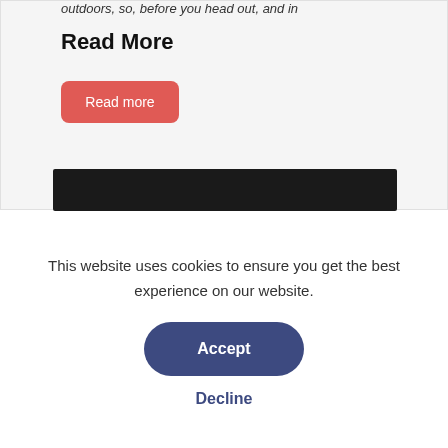outdoors, so, before you head out, and in
Read More
[Figure (screenshot): Red rounded button labeled 'Read more']
[Figure (screenshot): Dark/black horizontal bar]
This website uses cookies to ensure you get the best experience on our website.
[Figure (screenshot): Dark blue rounded 'Accept' button]
Decline